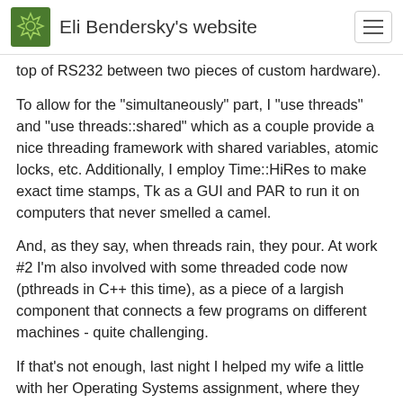Eli Bendersky's website
top of RS232 between two pieces of custom hardware).
To allow for the "simultaneously" part, I "use threads" and "use threads::shared" which as a couple provide a nice threading framework with shared variables, atomic locks, etc. Additionally, I employ Time::HiRes to make exact time stamps, Tk as a GUI and PAR to run it on computers that never smelled a camel.
And, as they say, when threads rain, they pour. At work #2 I'm also involved with some threaded code now (pthreads in C++ this time), as a piece of a largish component that connects a few programs on different machines - quite challenging.
If that's not enough, last night I helped my wife a little with her Operating Systems assignment, where they have to (hold your breath) modify the Linux kernel's process scheduler to use a different scheduling algorithm.